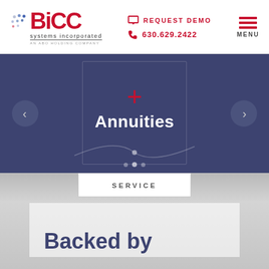[Figure (logo): BICC Systems Incorporated logo with dot pattern, red BICC text, 'systems incorporated' subtitle, 'AN ABO HOLDING COMPANY' tagline]
REQUEST DEMO  630.629.2422  MENU
[Figure (screenshot): Dark navy blue slider/carousel section with a red plus icon, 'Annuities' title in white bold text, left and right navigation arrows, decorative card outline, and slider dot indicators with a curve graphic]
Annuities
SERVICE
Backed by